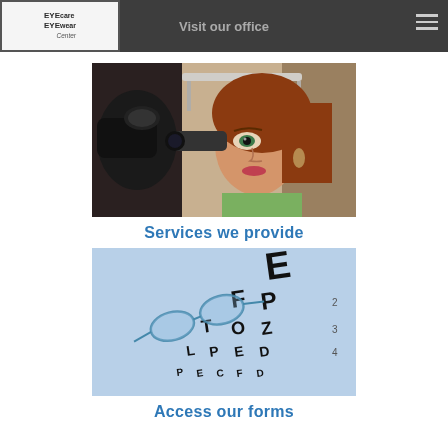Visit our office
[Figure (photo): Woman undergoing slit-lamp eye examination at an optometry clinic]
Services we provide
[Figure (photo): Vision chart (Snellen eye chart) with glasses resting on top]
Access our forms